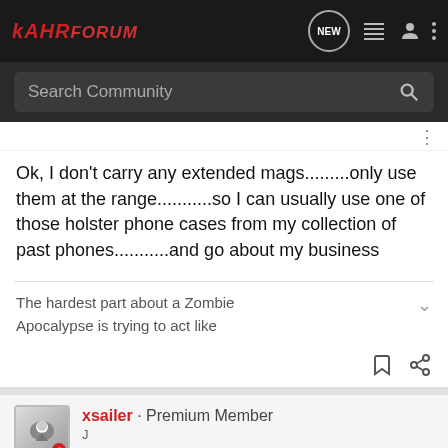KAHR FORUM
Search Community
Ok, I don't carry any extended mags.........only use them at the range...........so I can usually use one of those holster phone cases from my collection of past phones...........and go about my business
The hardest part about a Zombie Apocalypse is trying to act like
xsailer · Premium Member
[Figure (screenshot): Advertisement banner for Kel-Tec CP33 pistol with text SEEKING LONG RANGE RELATIONSHIP]